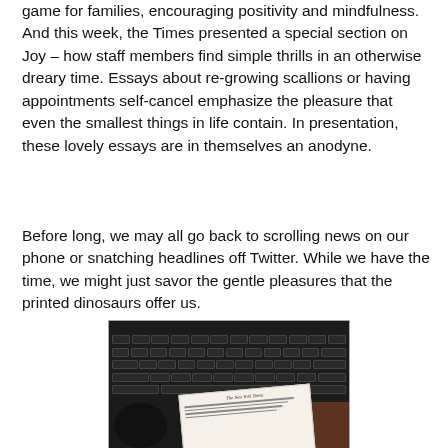game for families, encouraging positivity and mindfulness. And this week, the Times presented a special section on Joy – how staff members find simple thrills in an otherwise dreary time. Essays about re-growing scallions or having appointments self-cancel emphasize the pleasure that even the smallest things in life contain. In presentation, these lovely essays are in themselves an anodyne.
Before long, we may all go back to scrolling news on our phone or snatching headlines off Twitter. While we have the time, we might just savor the gentle pleasures that the printed dinosaurs offer us.
[Figure (photo): Photo of a keyboard and The New York Times newspaper on a desk, with a coffee cup partially visible at the bottom left]